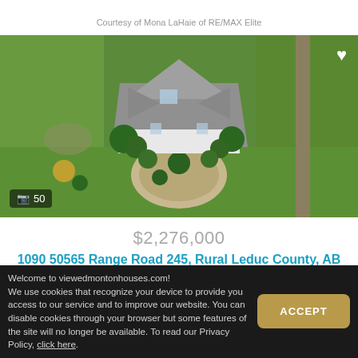Courtesy of Mona LaHaie of RE/MAX Elite
[Figure (photo): Aerial drone photo of a large white luxury house with grey roof, circular driveway with trees, surrounded by green lawn and landscaping.]
$2,276,000
1090 50565 Range Road 245, Rural Leduc County, AB
6  7  5,905
Welcome to viewedmontonhouses.com! We use cookies that recognize your device to provide you access to our service and to improve our website. You can disable cookies through your browser but some features of the site will no longer be available. To read our Privacy Policy, click here.